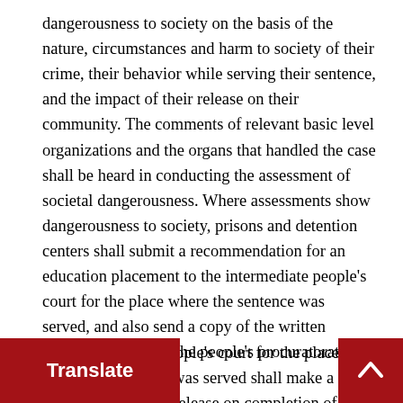dangerousness to society on the basis of the nature, circumstances and harm to society of their crime, their behavior while serving their sentence, and the impact of their release on their community. The comments of relevant basic level organizations and the organs that handled the case shall be heard in conducting the assessment of societal dangerousness. Where assessments show dangerousness to society, prisons and detention centers shall submit a recommendation for an education placement to the intermediate people's court for the place where the sentence was served, and also send a copy of the written recommendation to the people's procuratorate for the same level.
The intermediate people's court for the place where the sentence was served shall make a decision before the release on completion of sentence of those that are truly dangerous … to receive an educational plac…t on the completion of their sente… cision shall be sent to the people's